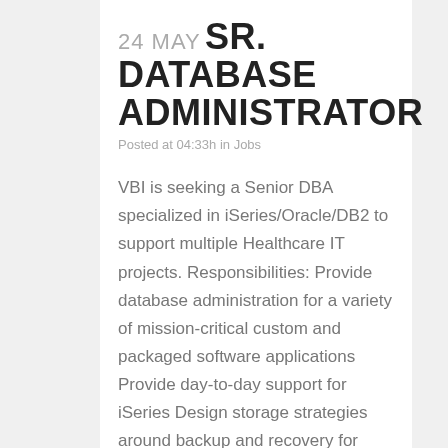24 MAY SR. DATABASE ADMINISTRATOR
Posted at 04:33h in Jobs
VBI is seeking a Senior DBA specialized in iSeries/Oracle/DB2 to support multiple Healthcare IT projects. Responsibilities: Provide database administration for a variety of mission-critical custom and packaged software applications Provide day-to-day support for iSeries Design storage strategies around backup and recovery for complex database environments, physical...